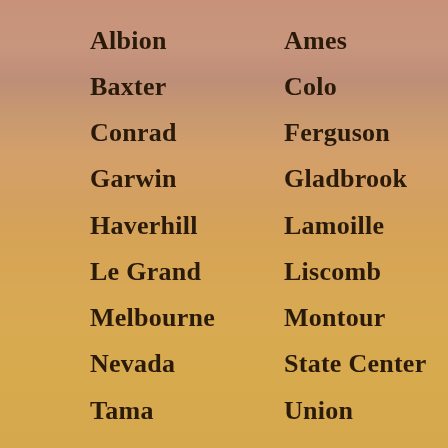Albion
Ames
Baxter
Colo
Conrad
Ferguson
Garwin
Gladbrook
Haverhill
Lamoille
Le Grand
Liscomb
Melbourne
Montour
Nevada
State Center
Tama
Union